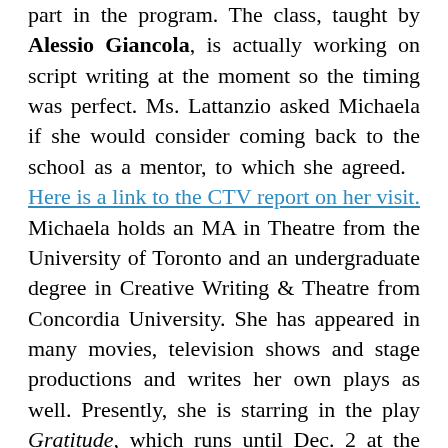part in the program. The class, taught by Alessio Giancola, is actually working on script writing at the moment so the timing was perfect. Ms. Lattanzio asked Michaela if she would consider coming back to the school as a mentor, to which she agreed.   Here is a link to the CTV report on her visit. Michaela holds an MA in Theatre from the University of Toronto and an undergraduate degree in Creative Writing & Theatre from Concordia University. She has appeared in many movies, television shows and stage productions and writes her own plays as well. Presently, she is starring in the play Gratitude, which runs until Dec. 2 at the Mainline Theatre.  The provocative storyline revolves around 15 year old Dariya, who attends an exclusive Montreal private high school. The elements of first love, peer pressure, sexual identity and cultural discrepancies are woven into the script as well. While the show is recommended for those aged 16 and older, Director Oren Safdie ensured that everything is done tastefully. Michaela, who is much older than 15 in real life,